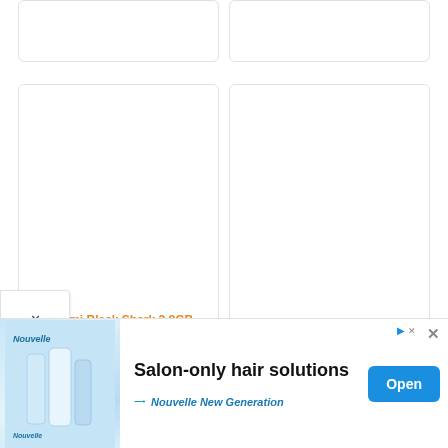[Figure (screenshot): Top partial product cards row (cut off at top), two product card placeholders with rounded borders]
[Figure (screenshot): Two product cards: left card for 'Xiaomi Black Shark 2 8GB RAM 128GB Dual SIM' with 3.5-star rating; right card for 'Thomson Tlink40 Dual SIM' priced at £23.99]
Xiaomi Black Shark 2 8GB RAM 128GB Dual SIM
Thomson Tlink40 Dual SIM
£23.99
[Figure (screenshot): Advertisement banner: Nouvelle New Generation hair products ad. Shows 'Salon-only hair solutions' text with an 'Open' button. Features product images on left.]